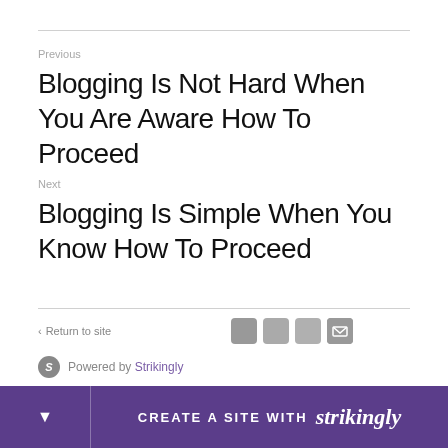Previous
Blogging Is Not Hard When You Are Aware How To Proceed
Next
Blogging Is Simple When You Know How To Proceed
< Return to site
Powered by Strikingly
CREATE A SITE WITH strikingly